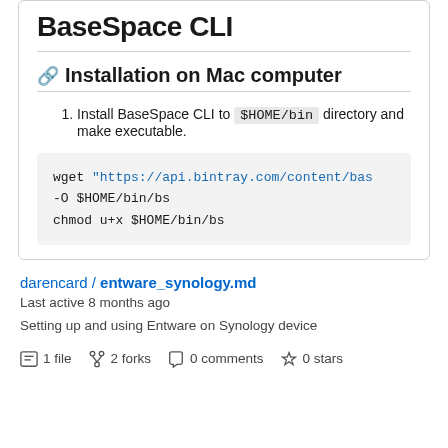BaseSpace CLI
Installation on Mac computer
Install BaseSpace CLI to $HOME/bin directory and make executable.
wget "https://api.bintray.com/content/bas
-O $HOME/bin/bs
chmod u+x $HOME/bin/bs
darencard / entware_synology.md
Last active 8 months ago
Setting up and using Entware on Synology device
1 file   2 forks   0 comments   0 stars